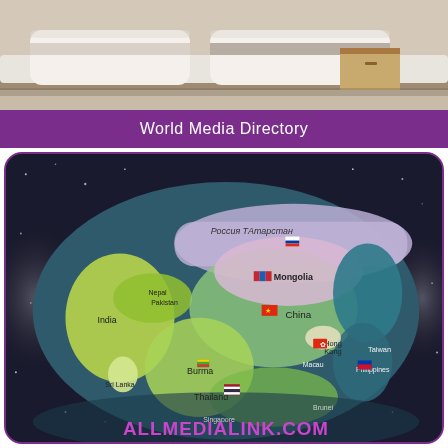[Figure (photo): Photo of a hotel bedroom with white pillows and bedding, wooden furniture visible in the background]
World Media Directory
[Figure (illustration): Globe bean bag or cushion showing Asia region with country labels including Mongolia, China, Hong Kong, Macau, Taiwan, Burma, Thailand, India, Sri Lanka, Singapore, Philippines, and flags. Text at bottom reads ALLMEDIALINK.COM in purple letters.]